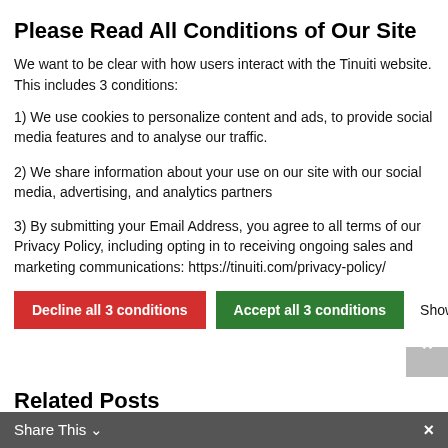Please Read All Conditions of Our Site
We want to be clear with how users interact with the Tinuiti website. This includes 3 conditions:
1) We use cookies to personalize content and ads, to provide social media features and to analyse our traffic.
2) We share information about your use on our site with our social media, advertising, and analytics partners
3) By submitting your Email Address, you agree to all terms of our Privacy Policy, including opting in to receiving ongoing sales and marketing communications: https://tinuiti.com/privacy-policy/
Decline all 3 conditions | Accept all 3 conditions | Show details
important."
Related Posts
[Figure (photo): Related post image thumbnail showing a stage or event with dark blue and purple lighting]
Share This